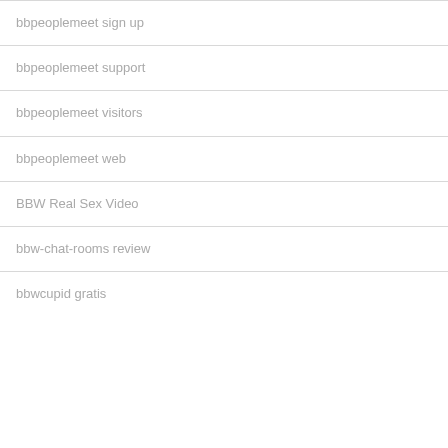bbpeoplemeet sign up
bbpeoplemeet support
bbpeoplemeet visitors
bbpeoplemeet web
BBW Real Sex Video
bbw-chat-rooms review
bbwcupid gratis